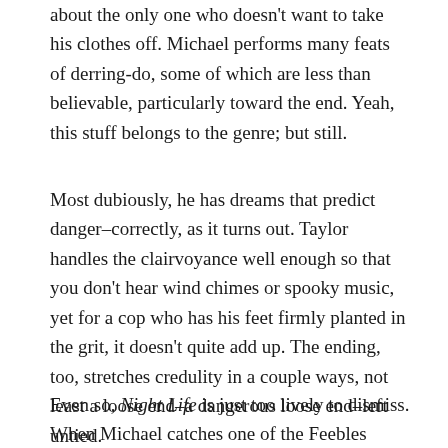about the only one who doesn't want to take his clothes off. Michael performs many feats of derring-do, some of which are less than believable, particularly toward the end. Yeah, this stuff belongs to the genre; but still.
Most dubiously, he has dreams that predict danger–correctly, as it turns out. Taylor handles the clairvoyance well enough so that you don't hear wind chimes or spooky music, yet for a cop who has his feet firmly planted in the grit, it doesn't quite add up. The ending, too, stretches credulity in a couple ways, not least a loose end–a dangerous loose end–left untied.
Even so, Night Life is just too lively to dismiss. When Michael catches one of the Feebles